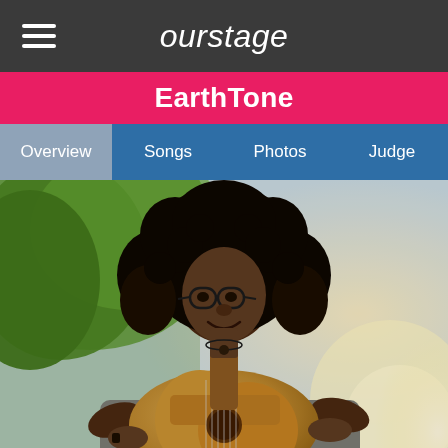ourstage
EarthTone
Overview | Songs | Photos | Judge
[Figure (photo): A young Black woman with large natural curly hair and glasses, smiling while playing an acoustic guitar outdoors with green trees in the background. She wears a gray t-shirt with yellow lettering.]